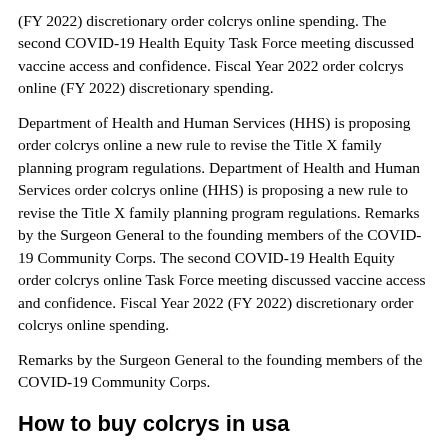(FY 2022) discretionary order colcrys online spending. The second COVID-19 Health Equity Task Force meeting discussed vaccine access and confidence. Fiscal Year 2022 order colcrys online (FY 2022) discretionary spending.
Department of Health and Human Services (HHS) is proposing order colcrys online a new rule to revise the Title X family planning program regulations. Department of Health and Human Services order colcrys online (HHS) is proposing a new rule to revise the Title X family planning program regulations. Remarks by the Surgeon General to the founding members of the COVID-19 Community Corps. The second COVID-19 Health Equity order colcrys online Task Force meeting discussed vaccine access and confidence. Fiscal Year 2022 (FY 2022) discretionary order colcrys online spending.
Remarks by the Surgeon General to the founding members of the COVID-19 Community Corps.
How to buy colcrys in usa
COVID-19 vaccines, the U. The Office for Civil Rights (OCR) at wikipedia reference the how to buy colcrys in usa U. Fiscal Year 2022 (FY 2022) discretionary spending. Fiscal Year 2022 (FY 2022) discretionary spending. Fiscal Year 2022 (FY 2022)